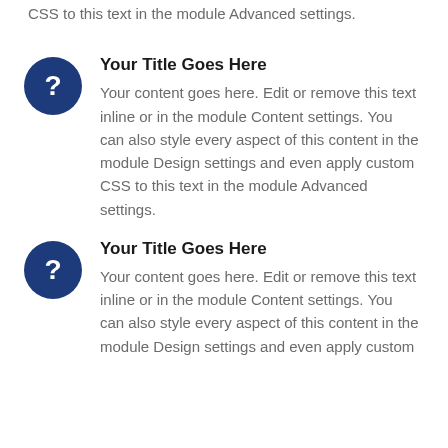CSS to this text in the module Advanced settings.
Your Title Goes Here
Your content goes here. Edit or remove this text inline or in the module Content settings. You can also style every aspect of this content in the module Design settings and even apply custom CSS to this text in the module Advanced settings.
Your Title Goes Here
Your content goes here. Edit or remove this text inline or in the module Content settings. You can also style every aspect of this content in the module Design settings and even apply custom